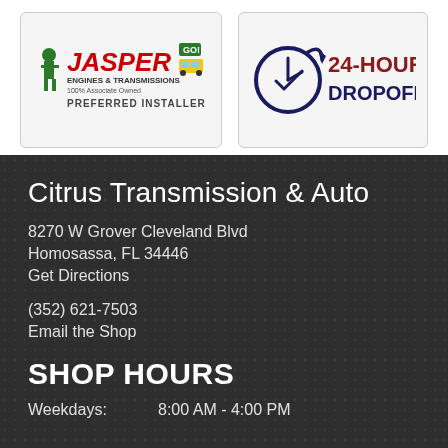[Figure (logo): Jasper Engines & Transmissions 100% Associate Owned Preferred Installer logo]
[Figure (logo): 24-Hour Dropoff badge with clock icon]
Citrus Transmission & Auto
8270 W Grover Cleveland Blvd
Homosassa, FL 34446
Get Directions
(352) 621-7503
Email the Shop
SHOP HOURS
Weekdays:   8:00 AM - 4:00 PM